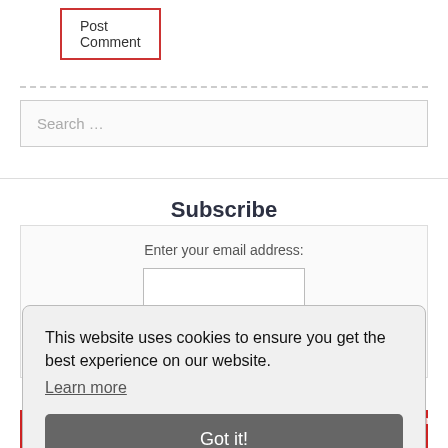Post Comment
Search …
Subscribe
Enter your email address:
Follow on Pinterest
This website uses cookies to ensure you get the best experience on our website. Learn more
Got it!
view our pins on